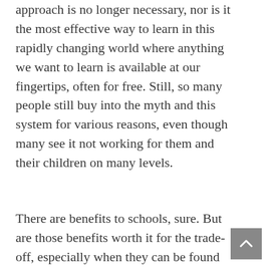approach is no longer necessary, nor is it the most effective way to learn in this rapidly changing world where anything we want to learn is available at our fingertips, often for free. Still, so many people still buy into the myth and this system for various reasons, even though many see it not working for them and their children on many levels.
There are benefits to schools, sure. But are those benefits worth it for the trade-off, especially when they can be found outside the system? If you're fed up with “normal” educational approaches, know that interest-